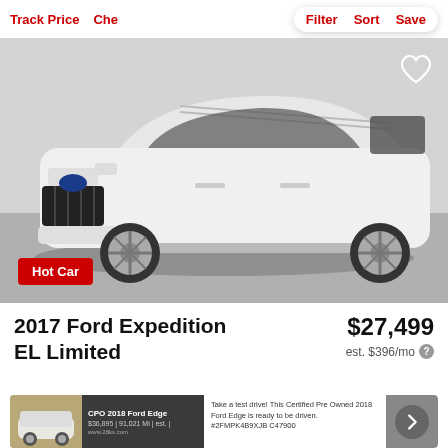Track Price  Che  Filter  Sort  Save
[Figure (photo): White 2017 Ford Expedition EL Limited SUV photographed in a showroom/garage setting from a front 3/4 angle. Vehicle is white with chrome/polished wheels. A 'Hot Car' red badge is visible in the bottom left of the image. A heart/favorite icon is in the top right corner.]
2017 Ford Expedition EL Limited
$27,499
est. $396/mo
[Figure (screenshot): Advertisement banner for CPO 2018 Ford Edge showing a small car image, listing details, descriptive text about test driving, and a right-arrow navigation button.]